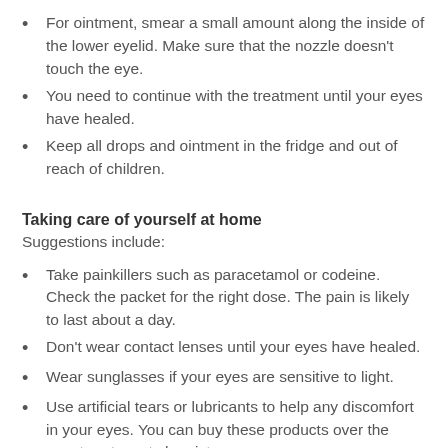For ointment, smear a small amount along the inside of the lower eyelid. Make sure that the nozzle doesn't touch the eye.
You need to continue with the treatment until your eyes have healed.
Keep all drops and ointment in the fridge and out of reach of children.
Taking care of yourself at home
Suggestions include:
Take painkillers such as paracetamol or codeine. Check the packet for the right dose. The pain is likely to last about a day.
Don't wear contact lenses until your eyes have healed.
Wear sunglasses if your eyes are sensitive to light.
Use artificial tears or lubricants to help any discomfort in your eyes. You can buy these products over the counter at most chemists.
It is important to return for a check up when the doctor...